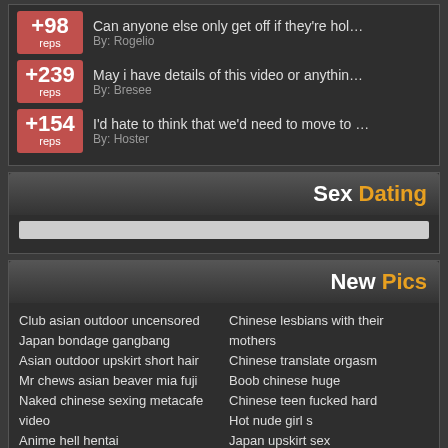+98 reps — Can anyone else only get off if they're hol… By: Rogelio
+239 reps — May i have details of this video or anythin… By: Bresee
+154 reps — I'd hate to think that we'd need to move to … By: Hoster
Sex Dating
New Pics
Club asian outdoor uncensored
Japan bondage gangbang
Asian outdoor upskirt short hair
Mr chews asian beaver mia fuji
Naked chinese sexing metacafe video
Anime hell hentai
Is watching anime porn a sin
Asian nudes pictures
Fate stay might hentai
Japanese schoolgirl peeing
Chinese lesbians with their mothers
Chinese translate orgasm
Boob chinese huge
Chinese teen fucked hard
Hot nude girl s
Japan upskirt sex
Do i like you in korean
Handjob japan siterip
Free chinese sex vedio
Korean girl with black guy
Ben 10 hentai foundry album 1
Anime clip sex watch